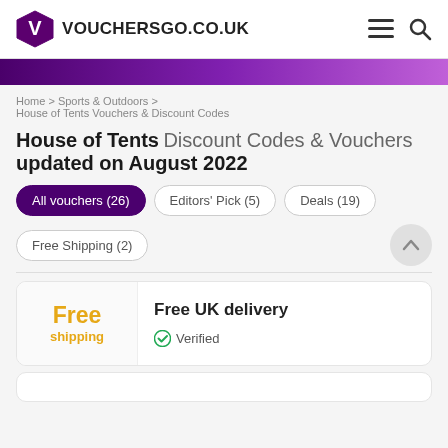VOUCHERSGO.CO.UK
Home > Sports & Outdoors > House of Tents Vouchers & Discount Codes
House of Tents Discount Codes & Vouchers updated on August 2022
All vouchers (26)
Editors' Pick (5)
Deals (19)
Free Shipping (2)
Free shipping — Free UK delivery — Verified